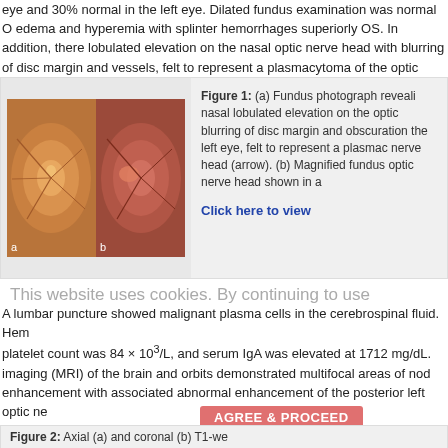eye and 30% normal in the left eye. Dilated fundus examination was normal O edema and hyperemia with splinter hemorrhages superiorly OS. In addition, there lobulated elevation on the nasal optic nerve head with blurring of disc margin and vessels, felt to represent a plasmacytoma of the optic nerve head [Figure 1].
[Figure (photo): Fundus photograph showing two retinal images side by side — one normal appearing eye (left) and one with nasal lobulated elevation, blurring of disc margin and obscuration on the optic nerve head (right).]
Figure 1: (a) Fundus photograph revealing nasal lobulated elevation on the optic blurring of disc margin and obscuration the left eye, felt to represent a plasma nerve head (arrow). (b) Magnified fundus optic nerve head shown in a
Click here to view
This website uses cookies. By continuing to use
A lumbar puncture showed malignant plasma cells in the cerebrospinal fluid. Hem platelet count was 84 × 10³/L, and serum IgA was elevated at 1712 mg/dL. imaging (MRI) of the brain and orbits demonstrated multifocal areas of nod enhancement with associated abnormal enhancement of the posterior left optic ne involved the left orbital apex and anterior clinoid process [Figure 2]. There extracranial large soft-tissue mass in the left paraspinal muscles adjacent to th and left C1–2 and C2–3 involvement of the neural foramina. An MRI of the com extensive spinal and paraspinal tumor infiltration throughout the cervical, thorac with severe tumor involvement of the bilateral sacral ala.
Figure 2: Axial (a) and coronal (b) T1-we